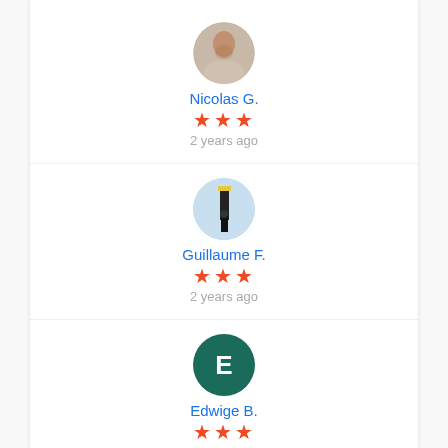[Figure (photo): Circular avatar photo of a man]
Nicolas G.
★★★
2 years ago
[Figure (photo): Circular avatar photo of a person near a lighthouse]
Guillaume F.
★★★
2 years ago
[Figure (illustration): Circular avatar with letter E on dark teal background]
Edwige B.
★★★
2 years ago
[Figure (photo): Circular avatar photo of a person, partially visible at bottom]